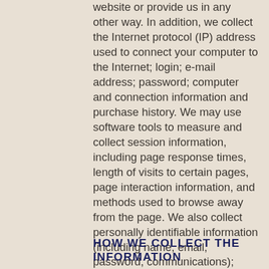website or provide us in any other way. In addition, we collect the Internet protocol (IP) address used to connect your computer to the Internet; login; e-mail address; password; computer and connection information and purchase history. We may use software tools to measure and collect session information, including page response times, length of visits to certain pages, page interaction information, and methods used to browse away from the page. We also collect personally identifiable information (including name, email, password, communications); payment details (including credit card information), comments, feedback, product reviews, recommendations, and personal profile.
HOW WE COLLECT THE INFORMATION